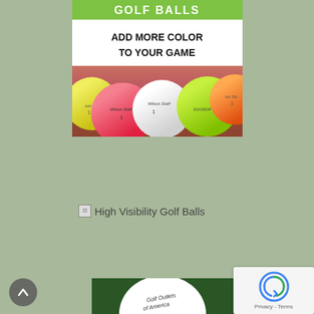[Figure (advertisement): Wilson Staff colored golf balls advertisement banner with green header reading GOLF BALLS, white section with ADD MORE COLOR TO YOUR GAME text, and colorful golf balls (yellow, pink/red, white, green, orange) on pink/red gradient background]
[Figure (other): Broken image placeholder with alt text: High Visibility Golf Balls]
[Figure (photo): Partially visible golf ball on dark green background with Golf Outlets of America text]
[Figure (other): reCAPTCHA widget showing recaptcha logo and Privacy - Terms text]
[Figure (other): Back to top button - circular grey button with up arrow]